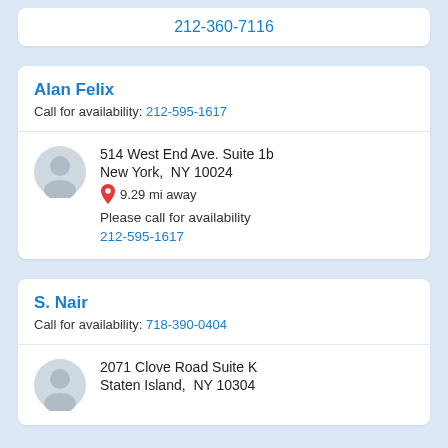212-360-7116
Alan Felix
Call for availability: 212-595-1617
514 West End Ave. Suite 1b
New York,  NY 10024
9.29 mi away
Please call for availability
212-595-1617
S. Nair
Call for availability: 718-390-0404
2071 Clove Road Suite K
Staten Island,  NY 10304